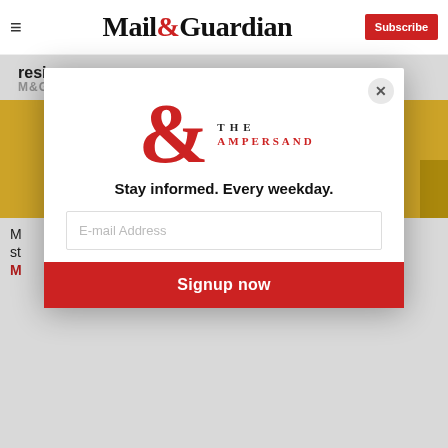Mail&Guardian — Subscribe
resign
M&G PREMIUM
[Figure (photo): Article hero image with golden background and person's head/hair visible at top]
M
st
M
[Figure (logo): The Ampersand newsletter modal popup with large red ampersand logo, tagline 'Stay informed. Every weekday.', email input field, and Signup now button]
Stay informed. Every weekday.